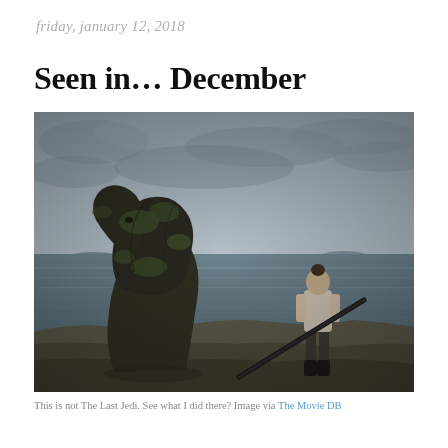friday, january 12, 2018
Seen in… December
[Figure (photo): A scene from Star Wars: The Last Jedi showing a young woman holding a staff/bo staff, standing on rocky cliffs overlooking the ocean, next to a large moss-covered rock formation, under a cloudy grey sky.]
This is not The Last Jedi. See what I did there? Image via The Movie DB